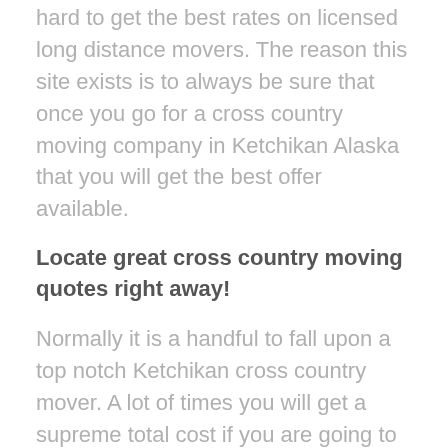hard to get the best rates on licensed long distance movers. The reason this site exists is to always be sure that once you go for a cross country moving company in Ketchikan Alaska that you will get the best offer available.
Locate great cross country moving quotes right away!
Normally it is a handful to fall upon a top notch Ketchikan cross country mover. A lot of times you will get a supreme total cost if you are going to message a few of the current cross country movers in Ketchikan and look at their quotes. Many folks definitely like to easily find a top notch cross country mover to work out all of you and your families cross country moving woes. The real key is to just use the highly trusted resources provided to you everywhere on this cross country moving web page to locate the greatest deal on Ketchikan cross country mover services out there. There